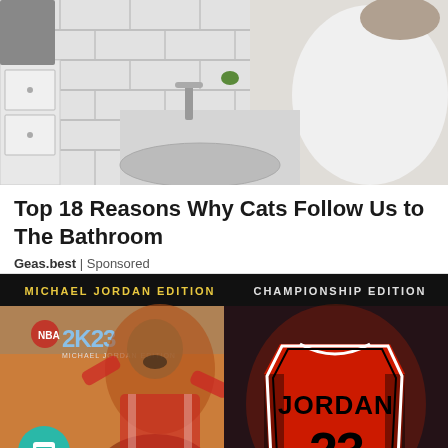[Figure (photo): Person in white t-shirt washing hands or working at a bathroom sink with white subway tile wall in background]
Top 18 Reasons Why Cats Follow Us to The Bathroom
Geas.best | Sponsored
[Figure (photo): NBA 2K23 game advertisement showing Michael Jordan Edition cover on the left (with Michael Jordan in Chicago Bulls uniform) and Championship Edition on the right (showing a Jordan #23 red Bulls jersey)]